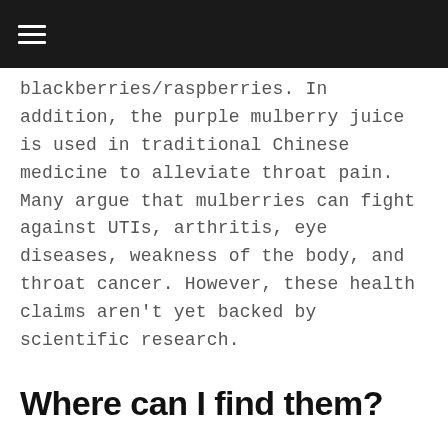☰
blackberries/raspberries. In addition, the purple mulberry juice is used in traditional Chinese medicine to alleviate throat pain. Many argue that mulberries can fight against UTIs, arthritis, eye diseases, weakness of the body, and throat cancer. However, these health claims aren't yet backed by scientific research.
Where can I find them?